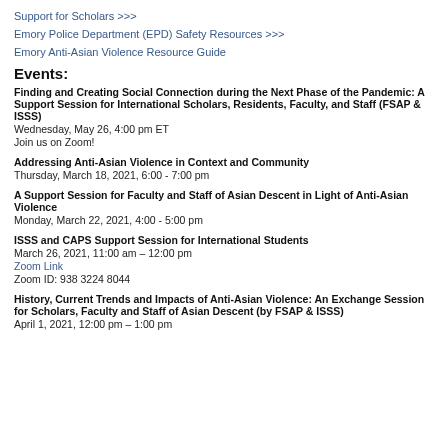Support for Scholars >>>
Emory Police Department (EPD) Safety Resources >>>
Emory Anti-Asian Violence Resource Guide
Events:
Finding and Creating Social Connection during the Next Phase of the Pandemic: A Support Session for International Scholars, Residents, Faculty, and Staff (FSAP & ISSS)
Wednesday, May 26, 4:00 pm ET
Join us on Zoom!
Addressing Anti-Asian Violence in Context and Community
Thursday, March 18, 2021, 6:00 - 7:00 pm
A Support Session for Faculty and Staff of Asian Descent in Light of Anti-Asian Violence
Monday, March 22, 2021, 4:00 - 5:00 pm
ISSS and CAPS Support Session for International Students
March 26, 2021, 11:00 am – 12:00 pm
Zoom Link
Zoom ID: 938 3224 8044
History, Current Trends and Impacts of Anti-Asian Violence: An Exchange Session for Scholars, Faculty and Staff of Asian Descent (by FSAP & ISSS)
April 1, 2021, 12:00 pm – 1:00 pm